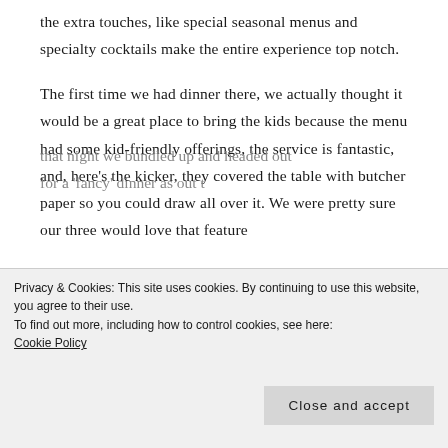the extra touches, like special seasonal menus and specialty cocktails make the entire experience top notch.
The first time we had dinner there, we actually thought it would be a great place to bring the kids because the menu had some kid-friendly offerings, the service is fantastic, and, here's the kicker, they covered the table with butcher paper so you could draw all over it. We were pretty sure our three would love that feature
Privacy & Cookies: This site uses cookies. By continuing to use this website, you agree to their use.
To find out more, including how to control cookies, see here:
Cookie Policy
Close and accept
that night we bundled up and headed out for a 'fancy' dinner as out t
Bonefish Grill in Middletown. Turns out we